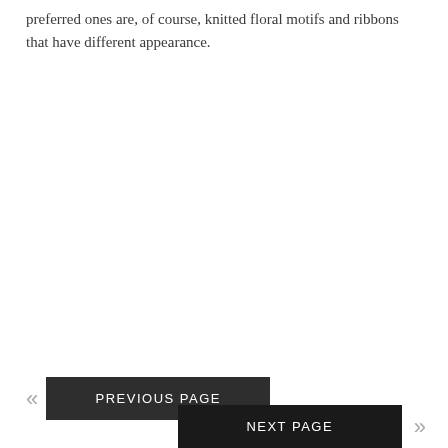preferred ones are, of course, knitted floral motifs and ribbons that have different appearance.
PREVIOUS PAGE
NEXT PAGE